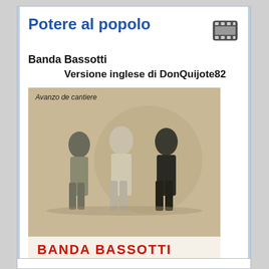Potere al popolo
Banda Bassotti
Versione inglese di DonQuijote82
[Figure (photo): Album cover for Banda Bassotti 'Avanzo de cantiere' showing three men standing, with red text 'BANDA BASSOTTI' at the bottom]
POWER TO THE PEOPLE
(Continues)
Contributed by DonQuijote82 2011/1/20 - 19:52